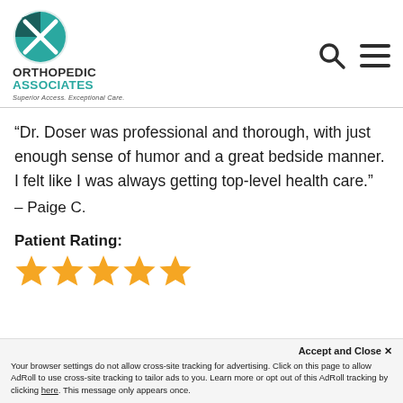[Figure (logo): Orthopedic Associates logo with circular icon, bold text ORTHOPEDIC ASSOCIATES in dark gray and teal, tagline: Superior Access. Exceptional Care.]
“Dr. Doser was professional and thorough, with just enough sense of humor and a great bedside manner. I felt like I was always getting top-level health care.”
– Paige C.
Patient Rating:
[Figure (infographic): 5 orange/yellow star rating icons]
Accept and Close ×
Your browser settings do not allow cross-site tracking for advertising. Click on this page to allow AdRoll to use cross-site tracking to tailor ads to you. Learn more or opt out of this AdRoll tracking by clicking here. This message only appears once.